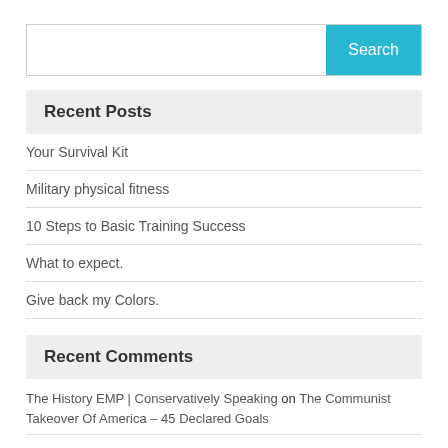Search
Recent Posts
Your Survival Kit
Military physical fitness
10 Steps to Basic Training Success
What to expect.
Give back my Colors.
Recent Comments
The History EMP | Conservatively Speaking on The Communist Takeover Of America – 45 Declared Goals
Communism in America – Honest Talk – Field 2 Field on The